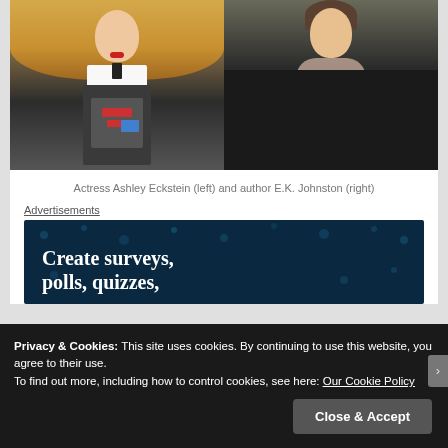[Figure (photo): Two women side by side. Left: blonde woman with red lips wearing a white shirt with black bow and dark Darth Vader-style apron costume with red and blue panels. Right: woman with dark hair wearing a grey/beige scarf and black jacket, seated outdoors.]
Actress Ashley Eckstein (left) and author E.K. Johnston (right)
Advertisements
[Figure (screenshot): Advertisement banner with dark blue background, decorative dots/bokeh, showing text: Create surveys, polls, quizzes,]
Privacy & Cookies: This site uses cookies. By continuing to use this website, you agree to their use.
To find out more, including how to control cookies, see here: Our Cookie Policy